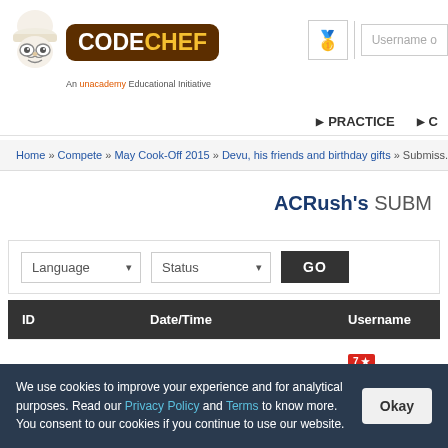[Figure (logo): CodeChef logo with chef mascot and brown badge, 'An unacademy Educational Initiative' tagline]
Username o...  |  [medal icon]  |  PRACTICE  ▶  C...
Home » Compete » May Cook-Off 2015 » Devu, his friends and birthday gifts » Submiss...
ACRush's SUBM...
| ID | Date/Time | Username |
| --- | --- | --- |
| 7013985 | 10:08 PM 24/05/15 | 7★ ACRush |
We use cookies to improve your experience and for analytical purposes. Read our Privacy Policy and Terms to know more. You consent to our cookies if you continue to use our website.